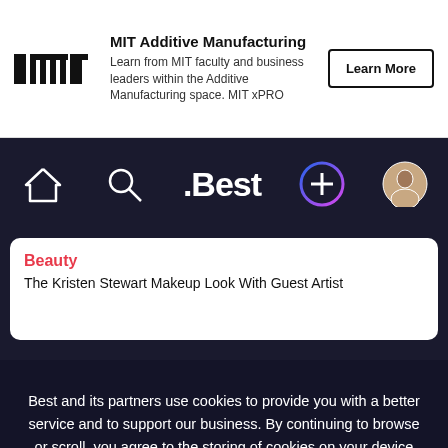[Figure (screenshot): MIT logo — black bar-style wordmark]
MIT Additive Manufacturing
Learn from MIT faculty and business leaders within the Additive Manufacturing space. MIT xPRO
Learn More
[Figure (screenshot): .Best app navigation bar with home icon, search icon, .Best brand name, plus button with gradient ring, and user avatar]
Beauty
The Kristen Stewart Makeup Look With Guest Artist
Best and its partners use cookies to provide you with a better service and to support our business. By continuing to browse or scroll, you agree to the storing of cookies on your device to enhance your Best experience.
Accept cookies
Only essentials
Learn more about our privacy policy.